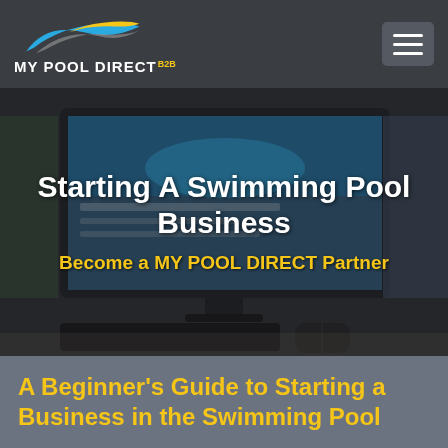[Figure (logo): MY POOL DIRECT B2B logo with blue and yellow wave graphic on dark grey navigation bar]
[Figure (photo): Hero image showing a computer monitor displaying a pool website, with a keyboard and mouse on a desk in the background, overlaid with a dark translucent layer]
Starting A Swimming Pool Business
Become a MY POOL DIRECT Partner
A Beginner's Guide to Starting a Business in the Swimming Pool